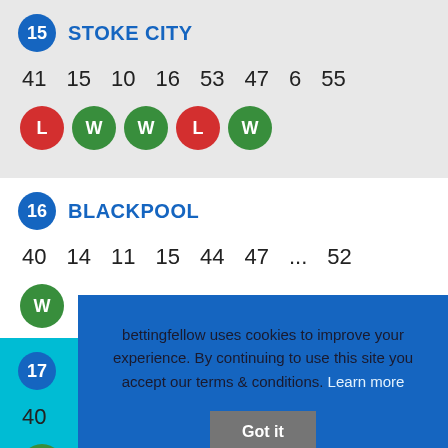15 STOKE CITY
41  15  10  16  53  47  6  55
L W W L W
16 BLACKPOOL
40  14  11  15  44  47  ...  52
W
bettingfellow uses cookies to improve your experience. By continuing to use this site you accept our terms & conditions. Learn more  Got it
17
40
W D W L W